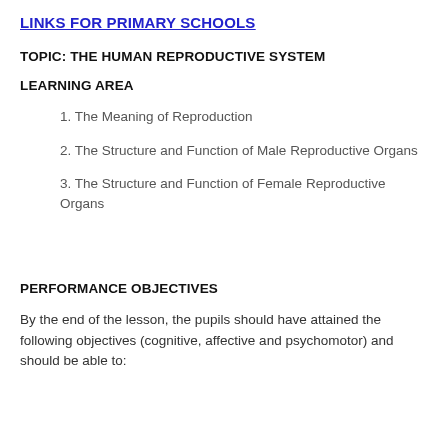LINKS FOR PRIMARY SCHOOLS
TOPIC: THE HUMAN REPRODUCTIVE SYSTEM
LEARNING AREA
1. The Meaning of Reproduction
2. The Structure and Function of Male Reproductive Organs
3. The Structure and Function of Female Reproductive Organs
PERFORMANCE OBJECTIVES
By the end of the lesson, the pupils should have attained the following objectives (cognitive, affective and psychomotor) and should be able to: